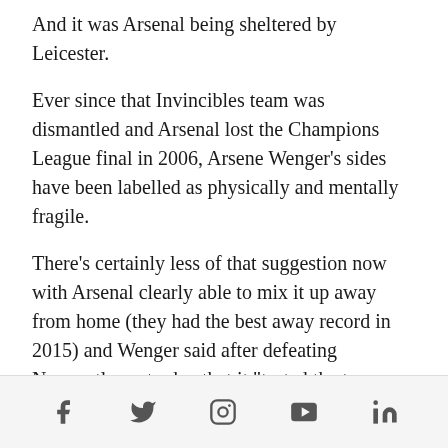And it was Arsenal being sheltered by Leicester.
Ever since that Invincibles team was dismantled and Arsenal lost the Champions League final in 2006, Arsene Wenger's sides have been labelled as physically and mentally fragile.
There's certainly less of that suggestion now with Arsenal clearly able to mix it up away from home (they had the best away record in 2015) and Wenger said after defeating Newcastle yesterday that it "tested the team on a mental front".
However there's still hints of fragility that
Social media icons: Facebook, Twitter, Instagram, YouTube, LinkedIn